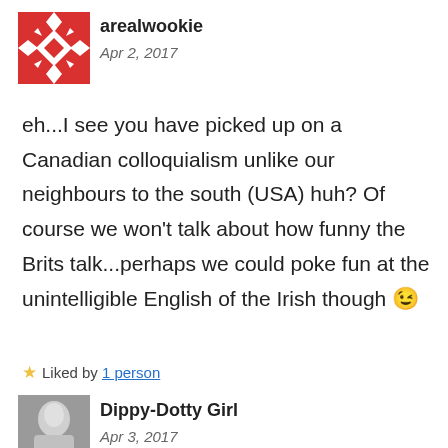[Figure (illustration): Red geometric/tribal snowflake avatar for user arealwookie]
arealwookie
Apr 2, 2017
eh...I see you have picked up on a Canadian colloquialism unlike our neighbours to the south (USA) huh? Of course we won't talk about how funny the Brits talk...perhaps we could poke fun at the unintelligible English of the Irish though 😉
★ Liked by 1 person
[Figure (photo): Black and white photo avatar for Dippy-Dotty Girl]
Dippy-Dotty Girl
Apr 3, 2017